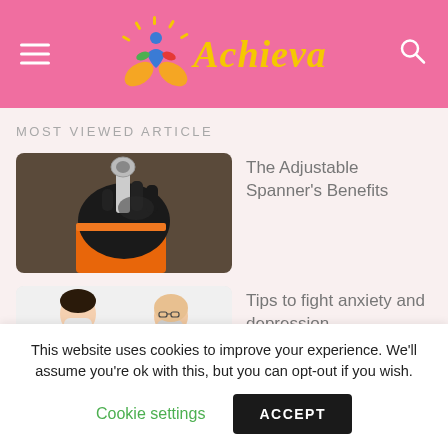Achieva
MOST VIEWED ARTICLE
[Figure (photo): A gloved hand holding an adjustable spanner/wrench with orange sleeve visible]
The Adjustable Spanner's Benefits
[Figure (photo): Two people wearing medical masks facing each other, one appears to be a doctor]
Tips to fight anxiety and depression
This website uses cookies to improve your experience. We'll assume you're ok with this, but you can opt-out if you wish.
Cookie settings
ACCEPT